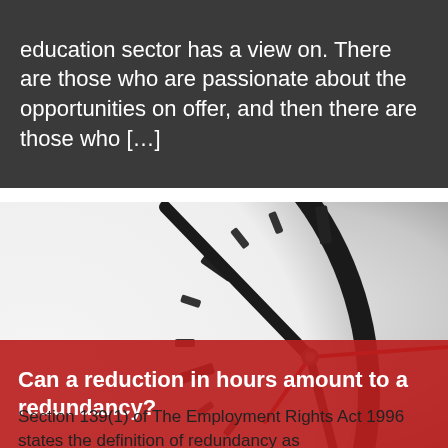education sector has a view on. There are those who are passionate about the opportunities on offer, and then there are those who […]
[Figure (photo): Close-up photograph of a white clock face with black hour and minute hands and a red second hand, partially showing the rim. Overlaid with a red banner at the bottom.]
Can a reduction in hours amount to a redundancy?
Section 139(1) of The Employment Rights Act 1996 states the definition of redundancy as